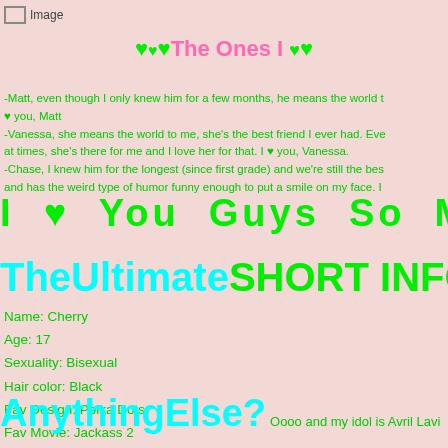[Figure (other): Small broken image placeholder icon labeled 'Image']
♥♥♥The Ones I ♥♥
-Matt, even though I only knew him for a few months, he means the world to me. ♥ you, Matt
-Vanessa, she means the world to me, she's the best friend I ever had. Even at times, she's there for me and I love her for that. I ♥ you, Vanessa.
-Chase, I knew him for the longest (since first grade) and we're still the best friends and has the weird type of humor funny enough to put a smile on my face.
I ♥ You Guys So Much
TheUltimateSHORT INFO
Name: Cherry
Age: 17
Sexuality: Bisexual
Hair color: Black
Fav Design: Polka Dots
Fav Movie: Jackass 2
AnythingElse? Oooo and my idol is Avril Lavigne